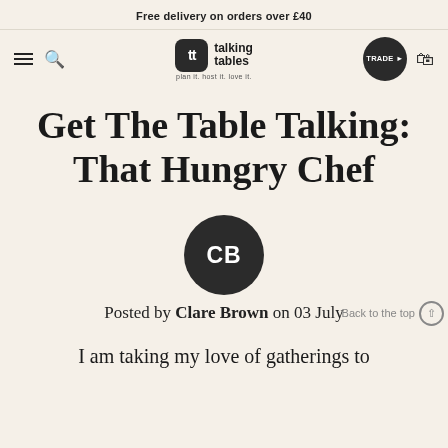Free delivery on orders over £40
[Figure (logo): Talking Tables logo with navigation bar including hamburger menu, search icon, logo with 'plan it. host it. love it.' tagline, TRADE button, and bag icon]
Get The Table Talking: That Hungry Chef
[Figure (illustration): Dark circle avatar with initials CB]
Posted by Clare Brown on 03 July
Back to the top ↑
I am taking my love of gatherings to